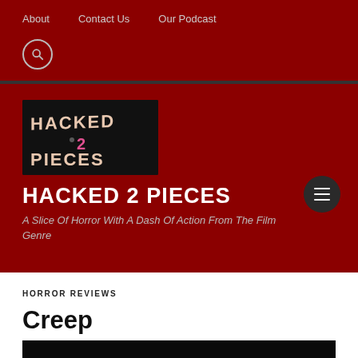About  Contact Us  Our Podcast
[Figure (logo): Hacked 2 Pieces logo on black background with stylized text]
HACKED 2 PIECES
A Slice Of Horror With A Dash Of Action From The Film Genre
HORROR REVIEWS
Creep
[Figure (screenshot): Movie banner reading: FROM THE PRODUCER OF PARANORMAL ACTIVITY AND THE PURGE]